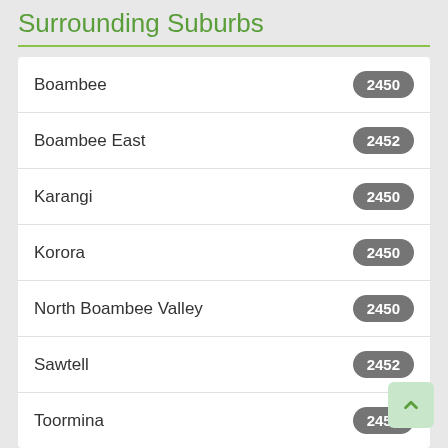Surrounding Suburbs
Boambee 2450
Boambee East 2452
Karangi 2450
Korora 2450
North Boambee Valley 2450
Sawtell 2452
Toormina 2452